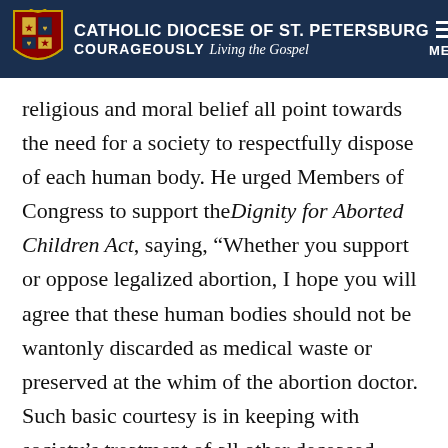CATHOLIC DIOCESE OF ST. PETERSBURG COURAGEOUSLY Living the Gospel
religious and moral belief all point towards the need for a society to respectfully dispose of each human body. He urged Members of Congress to support the Dignity for Aborted Children Act, saying, “Whether you support or oppose legalized abortion, I hope you will agree that these human bodies should not be wantonly discarded as medical waste or preserved at the whim of the abortion doctor. Such basic courtesy is in keeping with society’s treatment of all other deceased persons including cadavers, donated organs and tissues, remains that are recovered after traumatic incidents, and so on.